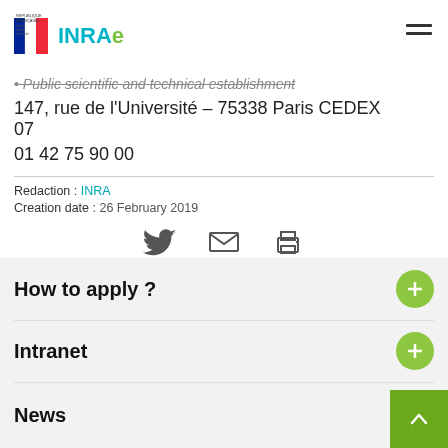REPUBLIQUE FRANÇAISE | INRAE
Public scientific and technical establishment
147, rue de l'Université – 75338 Paris CEDEX 07
01 42 75 90 00
Redaction : INRA
Creation date : 26 February 2019
[Figure (infographic): Social sharing icons: Twitter bird, envelope/email, printer]
How to apply ?
Intranet
News